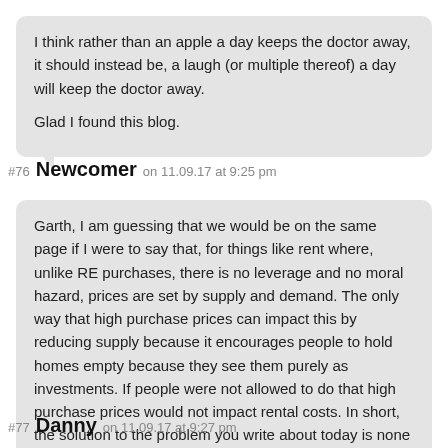I think rather than an apple a day keeps the doctor away, it should instead be, a laugh (or multiple thereof) a day will keep the doctor away.

Glad I found this blog.
#76 Newcomer on 11.09.17 at 9:25 pm
Garth, I am guessing that we would be on the same page if I were to say that, for things like rent where, unlike RE purchases, there is no leverage and no moral hazard, prices are set by supply and demand. The only way that high purchase prices can impact this by reducing supply because it encourages people to hold homes empty because they see them purely as investments. If people were not allowed to do that high purchase prices would not impact rental costs. In short, the solution to the problem you write about today is none other than the legislation you trashed yesterday.

Rentable properties are on the market already. That tens of thousands of tenant-ready places are 'held back' in Van is a myth. – Garth
#77 Danny on 11.09.17 at 9:27 pm